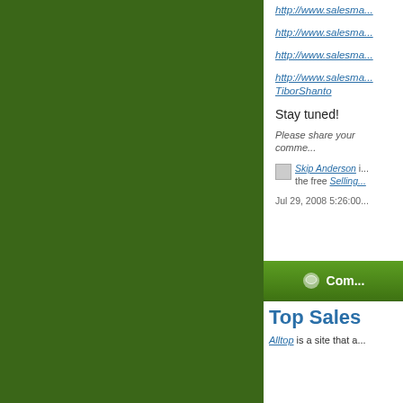http://www.salesma...
http://www.salesma...
http://www.salesma...
http://www.salesma... TiborShanto
Stay tuned!
Please share your comme...
Skip Anderson is the free Selling... Jul 29, 2008 5:26:00
[Figure (other): Comment button bar with speech bubble icon]
Top Sales
Alltop is a site that a...